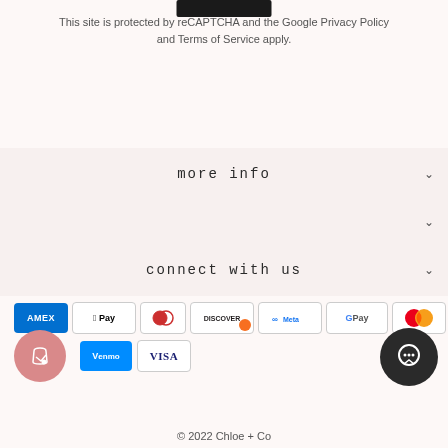This site is protected by reCAPTCHA and the Google Privacy Policy and Terms of Service apply.
more info
connect with us
[Figure (other): Row of payment method icons: American Express, Apple Pay, Diners Club, Discover, Meta Pay, Google Pay, Mastercard, PayPal, Shop Pay, Venmo, Visa]
[Figure (other): Shop app circular icon (pink/salmon background with shopping bag)]
[Figure (other): Chat/support circular button (dark, with speech bubble icon)]
© 2022 Chloe + Co